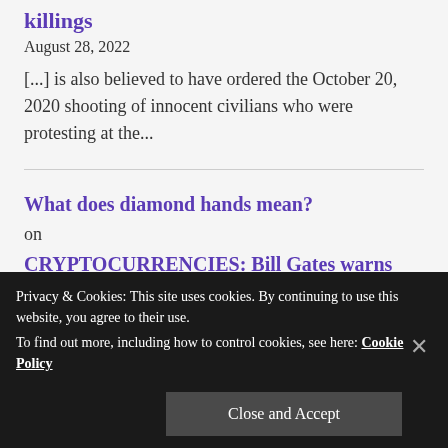killings
August 28, 2022
[...] is also believed to have ordered the October 20, 2020 shooting of innocent civilians who were protesting at the...
What does diamond hands mean? on CRYPTOCURRENCIES: Bill Gates warns fans of Elon Musk to watch out for this
Privacy & Cookies: This site uses cookies. By continuing to use this website, you agree to their use.
To find out more, including how to control cookies, see here: Cookie Policy
Close and Accept